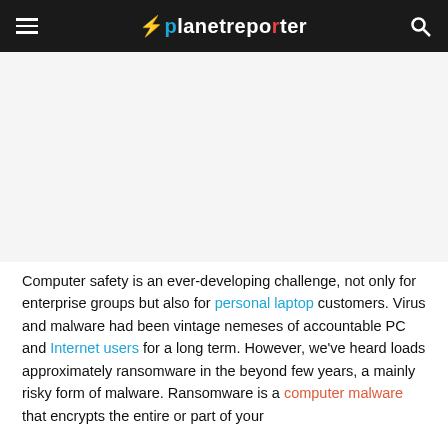planetreporter
[Figure (other): Advertisement / blank ad placeholder area]
Computer safety is an ever-developing challenge, not only for enterprise groups but also for personal laptop customers. Virus and malware had been vintage nemeses of accountable PC and Internet users for a long term. However, we've heard loads approximately ransomware in the beyond few years, a mainly risky form of malware. Ransomware is a computer malware that encrypts the entire or part of your